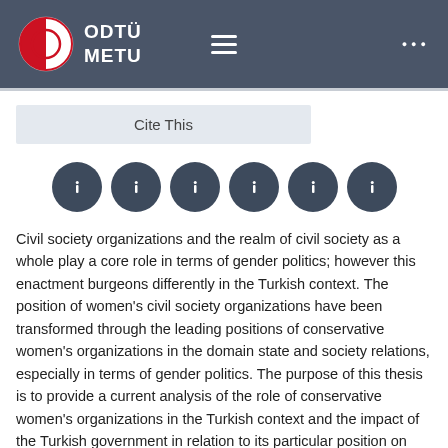[Figure (logo): ODTÜ METU university logo with red and white circular emblem and white text on dark gray header bar]
Cite This
[Figure (infographic): Row of six dark circular social sharing/action icon buttons]
Civil society organizations and the realm of civil society as a whole play a core role in terms of gender politics; however this enactment burgeons differently in the Turkish context. The position of women's civil society organizations have been transformed through the leading positions of conservative women's organizations in the domain state and society relations, especially in terms of gender politics. The purpose of this thesis is to provide a current analysis of the role of conservative women's organizations in the Turkish context and the impact of the Turkish government in relation to its particular position on civil society through gender politics. It thereby aims to mainly concentrate on the conservative women's